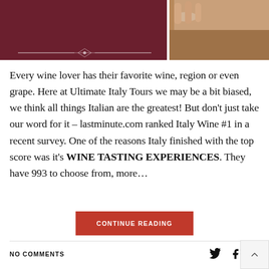[Figure (photo): Top banner image: left half is dark maroon/burgundy background with a decorative divider line and small diamond ornament; right half shows a close-up photo of fingers holding a wine glass on a wooden surface.]
Every wine lover has their favorite wine, region or even grape. Here at Ultimate Italy Tours we may be a bit biased, we think all things Italian are the greatest! But don't just take our word for it – lastminute.com ranked Italy Wine #1 in a recent survey. One of the reasons Italy finished with the top score was it's WINE TASTING EXPERIENCES. They have 993 to choose from, more…
CONTINUE READING
NO COMMENTS